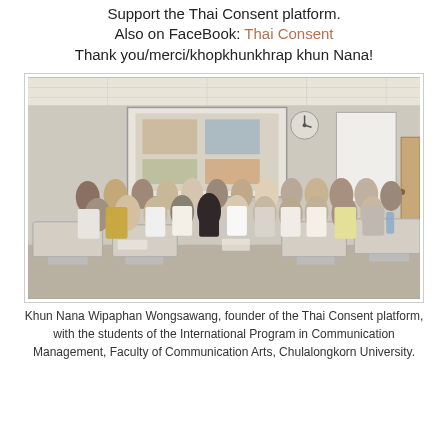Support the Thai Consent platform. Also on FaceBook: Thai Consent
Thank you/merci/khopkhunkhrap khun Nana!
[Figure (photo): Group photo of Khun Nana Wipaphan Wongsawang with students in a university classroom with desks and a projector screen showing slides.]
Khun Nana Wipaphan Wongsawang, founder of the Thai Consent platform, with the students of the International Program in Communication Management, Faculty of Communication Arts, Chulalongkorn University.